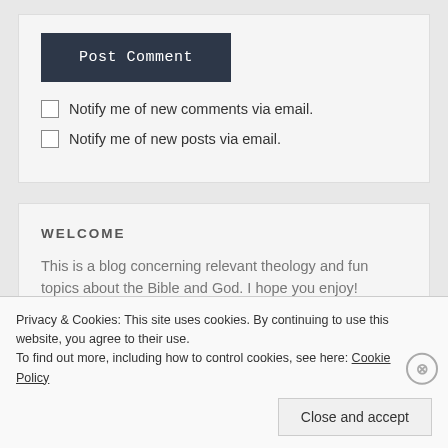Post Comment
Notify me of new comments via email.
Notify me of new posts via email.
WELCOME
This is a blog concerning relevant theology and fun topics about the Bible and God. I hope you enjoy!
Privacy & Cookies: This site uses cookies. By continuing to use this website, you agree to their use.
To find out more, including how to control cookies, see here: Cookie Policy
Close and accept